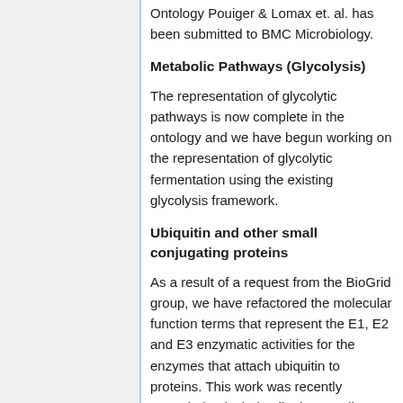Ontology Pouiger & Lomax et. al. has been submitted to BMC Microbiology.
Metabolic Pathways (Glycolysis)
The representation of glycolytic pathways is now complete in the ontology and we have begun working on the representation of glycolytic fermentation using the existing glycolysis framework.
Ubiquitin and other small conjugating proteins
As a result of a request from the BioGrid group, we have refactored the molecular function terms that represent the E1, E2 and E3 enzymatic activities for the enzymes that attach ubiquitin to proteins. This work was recently extended to include all other small conjugated proteins.